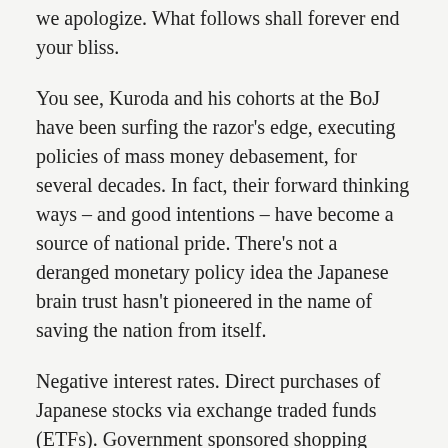we apologize.  What follows shall forever end your bliss.
You see, Kuroda and his cohorts at the BoJ have been surfing the razor's edge, executing policies of mass money debasement, for several decades.  In fact, their forward thinking ways – and good intentions – have become a source of national pride.  There's not a deranged monetary policy idea the Japanese brain trust hasn't pioneered in the name of saving the nation from itself.
Negative interest rates.  Direct purchases of Japanese stocks via exchange traded funds (ETFs).  Government sponsored shopping sprees.  They've tried it all.  And they've tried a lot of it.  All to suspend the deflationary effects that followed the bursting of a cheap credit induced asset bubble that popped nearly 30 years